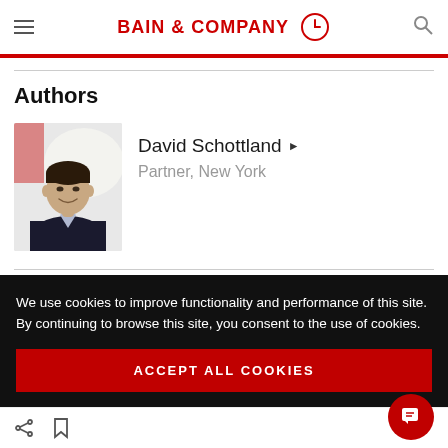BAIN & COMPANY
Authors
David Schottland ▶
Partner, New York
[Figure (photo): Headshot photo of David Schottland, a man in a dark suit with light shirt, smiling, blurred light background]
We use cookies to improve functionality and performance of this site. By continuing to browse this site, you consent to the use of cookies.
ACCEPT ALL COOKIES